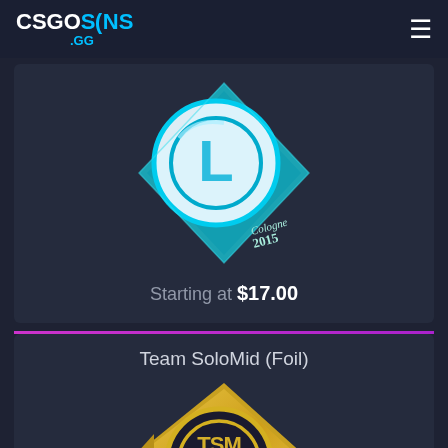CSGOSKINS .GG
[Figure (illustration): CS:GO Luminosity Gaming sticker foil with blue circular logo on a cyan and turquoise diamond-shaped background, Cologne 2015 text visible]
Starting at $17.00
Team SoloMid (Foil)
[Figure (illustration): CS:GO Team SoloMid foil sticker with gold TSM logo on gold diamond-shaped background, Cologne 2015 text visible]